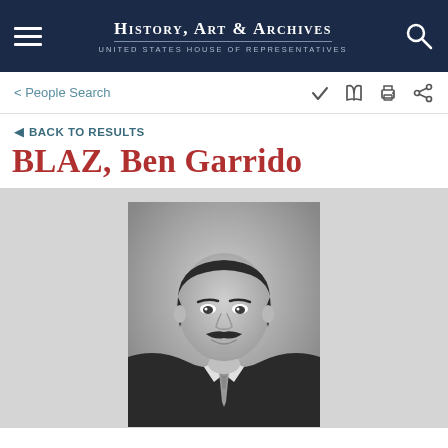History, Art & Archives — United States House of Representatives
< People Search
◄ BACK TO RESULTS
BLAZ, Ben Garrido
[Figure (photo): Black and white portrait photograph of Ben Garrido Blaz, a man with dark hair and a mustache, wearing a dark suit with a patterned tie, smiling slightly, photographed against a light background.]